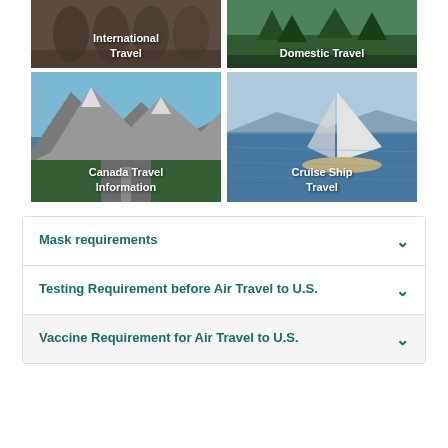[Figure (photo): International Travel tile with archway corridor photo]
[Figure (photo): Domestic Travel tile with forest/mountains photo]
[Figure (photo): Canada Travel Information tile with mountain road photo]
[Figure (photo): Cruise Ship Travel tile with sailboat on water photo]
Mask requirements
Testing Requirement before Air Travel to U.S.
Vaccine Requirement for Air Travel to U.S.